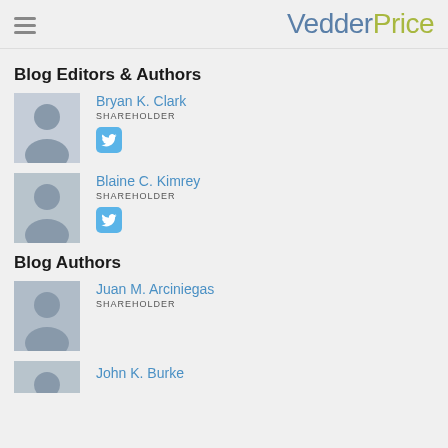VedderPrice
Blog Editors & Authors
Bryan K. Clark
SHAREHOLDER
Blaine C. Kimrey
SHAREHOLDER
Blog Authors
Juan M. Arciniegas
SHAREHOLDER
John K. Burke